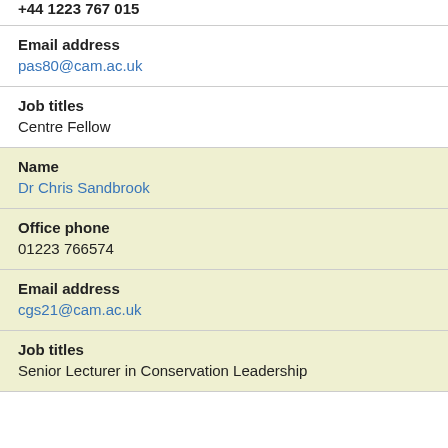+44 1223 767 015 (truncated top)
Email address
pas80@cam.ac.uk
Job titles
Centre Fellow
Name
Dr Chris Sandbrook
Office phone
01223 766574
Email address
cgs21@cam.ac.uk
Job titles
Senior Lecturer in Conservation Leadership